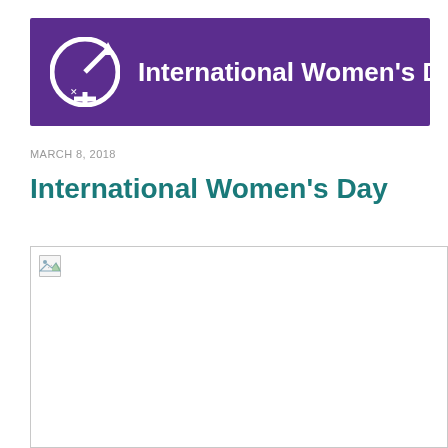[Figure (logo): International Women's Day purple banner with circular female symbol logo and white text reading 'International Women’s Day']
MARCH 8, 2018
International Women’s Day
[Figure (photo): Broken/unloaded image placeholder within a light gray bordered box]